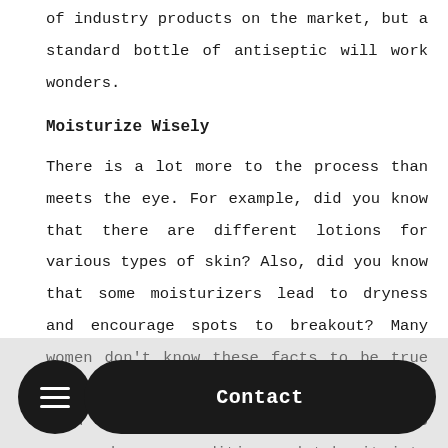of industry products on the market, but a standard bottle of antiseptic will work wonders.
Moisturize Wisely
There is a lot more to the process than meets the eye. For example, did you know that there are different lotions for various types of skin? Also, did you know that some moisturizers lead to dryness and encourage spots to breakout? Many women don't know these facts to be true and apply a bog standard lotion without much thought. However, it's essential to research your condition and take it into account if you are an acne sufferer. An excellent tip is to search for products which
Contact